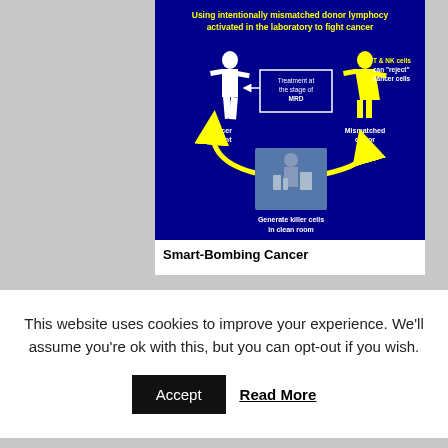[Figure (infographic): Medical infographic on dark blue background showing a cycle diagram: a white silhouette of a cancer patient on the left, with a box labeled 'Treatment at the stage of MRD', connected by arrows to a yellow silhouette labeled 'Mismatched donor' on the right (with text 'T & NK cells can reject cancer cells'), a photo of a lab worker in a clean room at the bottom labeled 'Generate killer cells in clean room', and yellow curved arrows forming a cycle. Title at top in yellow bold text: 'Using intentionally mismatched donor lymphocytes activated in the laboratory to fight cancer'.]
Smart-Bombing Cancer
This website uses cookies to improve your experience. We'll assume you're ok with this, but you can opt-out if you wish.